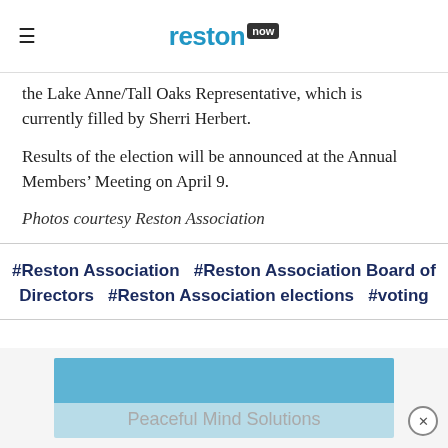reston now
the Lake Anne/Tall Oaks Representative, which is currently filled by Sherri Herbert.
Results of the election will be announced at the Annual Members’ Meeting on April 9.
Photos courtesy Reston Association
#Reston Association   #Reston Association Board of Directors   #Reston Association elections   #voting
[Figure (other): Advertisement banner for Peaceful Mind Solutions with blue background]